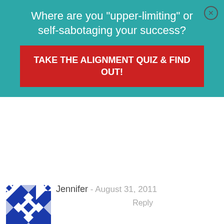Where are you "upper-limiting" or self-sabotaging your success?
TAKE THE ALIGNMENT QUIZ & FIND OUT!
[Figure (illustration): Geometric blue and white quilt-pattern avatar for commenter Jennifer]
Jennifer - August 31, 2011
Reply
So inspiring, you two, thanks! And Mati’s folk art book is one of the few I chose from